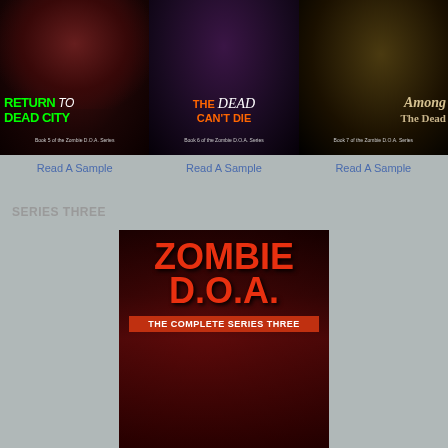[Figure (illustration): Book cover: Return to Dead City, Book 5 of the Zombie D.O.A. Series, green title text on dark background with face]
[Figure (illustration): Book cover: The Dead Can't Die, Book 6 of the Zombie D.O.A. Series, orange and white title on dark purple background]
[Figure (illustration): Book cover: Among the Dead, Book 7 of the Zombie D.O.A. Series, tan title text on dark background with face]
Read A Sample
Read A Sample
Read A Sample
SERIES THREE
[Figure (illustration): Book cover: Zombie D.O.A. The Complete Series Three, large red title on dark red/black background with trees]